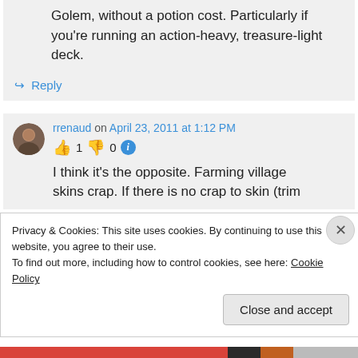Golem, without a potion cost. Particularly if you're running an action-heavy, treasure-light deck.
↪ Reply
rrenaud on April 23, 2011 at 1:12 PM
👍 1 👎 0 ℹ
I think it's the opposite. Farming village skins crap. If there is no crap to skin (trim
Privacy & Cookies: This site uses cookies. By continuing to use this website, you agree to their use.
To find out more, including how to control cookies, see here: Cookie Policy
Close and accept